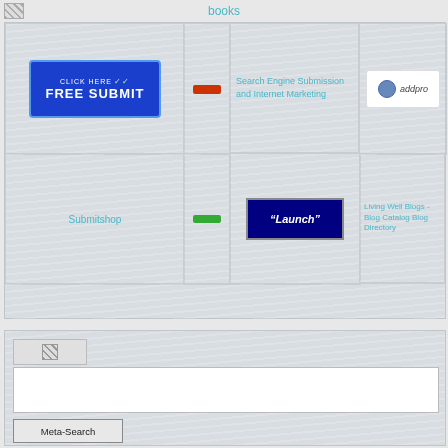books
[Figure (screenshot): Grid of web widgets: Free Submit button, red bar placeholder, Search Engine Submission and Internet Marketing link, addpro logo, Submitshop image link, green bar placeholder, Launch button, Living Well Blogs - Blog Catalog Blog Directory link]
[Figure (screenshot): Bottom panel with small image placeholder, search input box, and Meta-Search button]